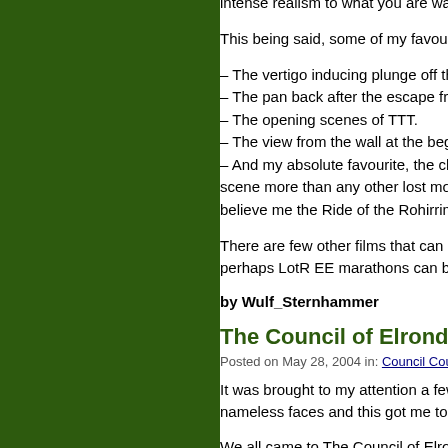intense realism to what you are watchi…
This being said, some of my favourite s…
– The vertigo inducing plunge off the top…
– The pan back after the escape from M…
– The opening scenes of TTT.
– The view from the wall at the beginnin…
– And my absolute favourite, the charge… impact, that you literally felt the force of… scene more than any other lost most of… all the other scenes, I would recommen… believe me the Ride of the Rohirrim just…
There are few other films that can comp… screen. I only hope that we won't have t… perhaps LotR EE marathons can beco… made with the same breadth of vision.
by Wulf_Sternhammer
The Council of Elrond Family…
Posted on May 28, 2004 in: Council Courier |
It was brought to my attention a few day… As I was feeling really bad, many friends… just nameless faces and this got me to t…
We all came to The Council of Elrond o… books, we all loved the story, the charac…